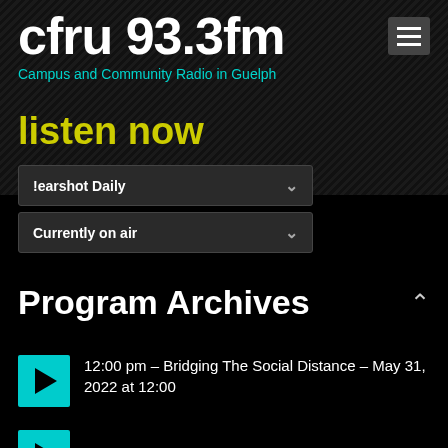cfru 93.3fm — Campus and Community Radio in Guelph
listen now
!earshot Daily
Currently on air
Program Archives
12:00 pm – Bridging The Social Distance – May 31, 2022 at 12:00